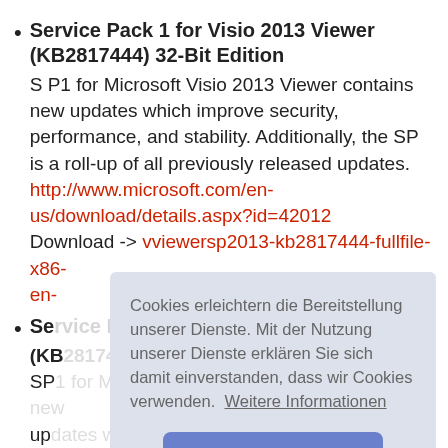Service Pack 1 for Visio 2013 Viewer (KB2817444) 32-Bit Edition
S P1 for Microsoft Visio 2013 Viewer contains new updates which improve security, performance, and stability. Additionally, the SP is a roll-up of all previously released updates.
http://www.microsoft.com/en-us/download/details.aspx?id=42012
Download -> vviewersp2013-kb2817444-fullfile-x86-en-
Se... (KB... SP... up... sta... pre...
http://www.microsoft.com/en-
Cookies erleichtern die Bereitstellung unserer Dienste. Mit der Nutzung unserer Dienste erklären Sie sich damit einverstanden, dass wir Cookies verwenden.  Weitere Informationen
OK!